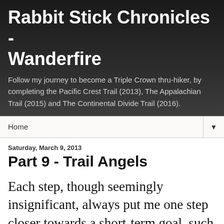Rabbit Stick Chronicles - Wanderfire
Follow my journey to become a Triple Crown thru-hiker, by completing the Pacific Crest Trail (2013), The Appalachian Trail (2015) and The Continental Divide Trail (2016).
Home ▼
Saturday, March 9, 2013
Part 9 - Trail Angels
Each step, though seemingly insignificant, always put me one step closer towards a short-term goal, such as a road junction, a ridge, a water source, or a longer-term goal,